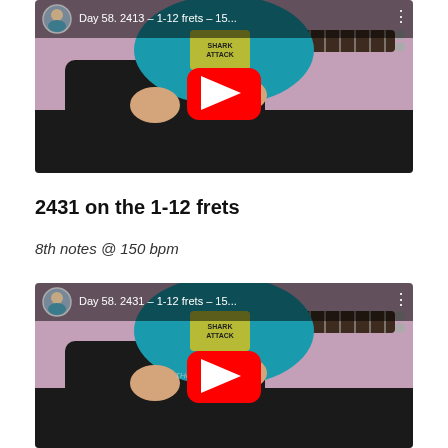[Figure (screenshot): YouTube video thumbnail showing a guitarist playing a black electric guitar with a purple/pink background. Header shows 'Day 58. 2413 – 1-12 frets – 15...' with channel avatar, YouTube play button in center.]
2431 on the 1-12 frets
8th notes @ 150 bpm
[Figure (screenshot): YouTube video thumbnail showing same guitarist playing guitar with purple background. Header shows 'Day 58. 2431 – 1-12 frets – 15...' with channel avatar, YouTube play button in center.]